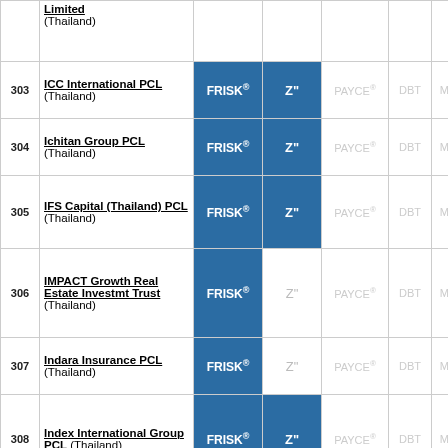| # | Company | FRISK® | Z" | PAYCE® | DBT | Moody's | Fitch |
| --- | --- | --- | --- | --- | --- | --- | --- |
|  | Limited (Thailand) |  |  |  |  |  |  |
| 303 | ICC International PCL (Thailand) | FRISK® | Z" | PAYCE® | DBT | Moody's | Fitch |
| 304 | Ichitan Group PCL (Thailand) | FRISK® | Z" | PAYCE® | DBT | Moody's | Fitch |
| 305 | IFS Capital (Thailand) PCL (Thailand) | FRISK® | Z" | PAYCE® | DBT | Moody's | Fitch |
| 306 | IMPACT Growth Real Estate Investmt Trust (Thailand) | FRISK® | Z" | PAYCE® | DBT | Moody's | Fitch |
| 307 | Indara Insurance PCL (Thailand) | FRISK® | Z" | PAYCE® | DBT | Moody's | Fitch |
| 308 | Index International Group PCL (Thailand) | FRISK® | Z" | PAYCE® | DBT | Moody's | Fitch |
| 309 | Index Living Mall PCL (Thailand) | FRISK® | Z" | PAYCE® | DBT | Moody's | Fitch |
| 310 | Indorama | FRISK® |  |  |  |  |  |